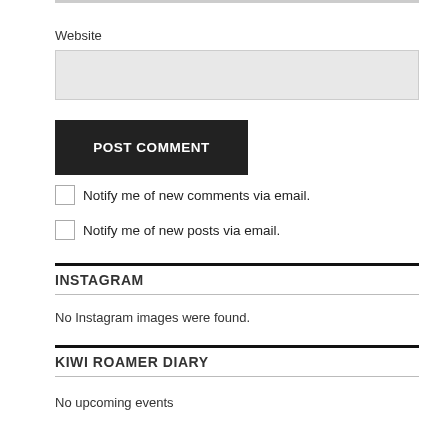Website
POST COMMENT
Notify me of new comments via email.
Notify me of new posts via email.
INSTAGRAM
No Instagram images were found.
KIWI ROAMER DIARY
No upcoming events